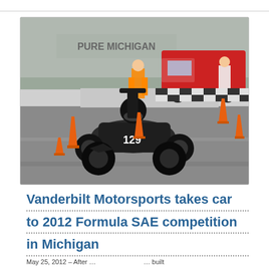[Figure (photo): A formula-style open-wheel race car numbered 128, black in color, driving on a track at the 2012 Formula SAE competition in Michigan. Orange traffic cones are visible on the track, along with a red pickup truck and safety workers in orange vests in the background. A 'Pure Michigan' sign is visible on the wall.]
Vanderbilt Motorsports takes car to 2012 Formula SAE competition in Michigan
May 25, 2012 – After …                      … built